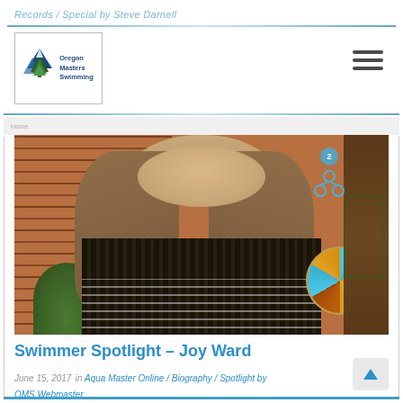Records / Special by Steve Darnell
[Figure (logo): Oregon Masters Swimming logo with tree/mountain icon]
[Figure (photo): Photo of Joy Ward, a woman with long gray-brown hair wearing a patterned sweater, standing outside in front of a brick building with a decorative globe on the right.]
Swimmer Spotlight – Joy Ward
June 15, 2017  in Aqua Master Online / Biography / Spotlight by OMS Webmaster